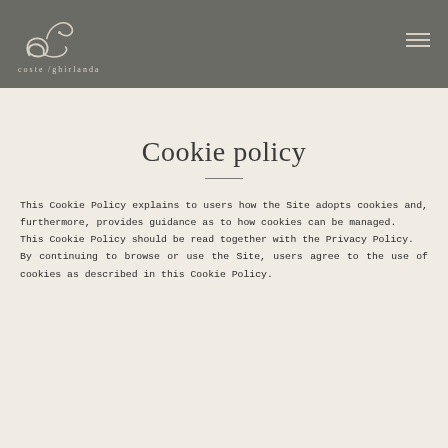[Figure (logo): Coste Ghirlanda logo — stylized cursive 'e' with decorative swirl above, text 'coste ghirlanda' below]
Cookie policy
This Cookie Policy explains to users how the Site adopts cookies and, furthermore, provides guidance as to how cookies can be managed.
This Cookie Policy should be read together with the Privacy Policy.
By continuing to browse or use the Site, users agree to the use of cookies as described in this Cookie Policy.